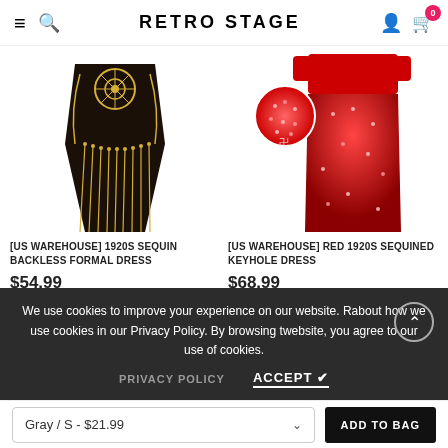RETRO STAGE
[Figure (photo): Black and gold 1920s sequin backless formal dress with art deco fringe pattern]
[US WAREHOUSE] 1920S SEQUIN BACKLESS FORMAL DRESS
$54.99
[Figure (photo): Red 1920s sequined keyhole dress with close-up detail circle inset]
[US WAREHOUSE] RED 1920S SEQUINED KEYHOLE DRESS
$68.99
We use cookies to improve your experience on our website. Read about how we use cookies in our Privacy Policy. By browsing this website, you agree to our use of cookies.
PRIVACY POLICY
ACCEPT ✔
Gray / S - $21.99
ADD TO BAG